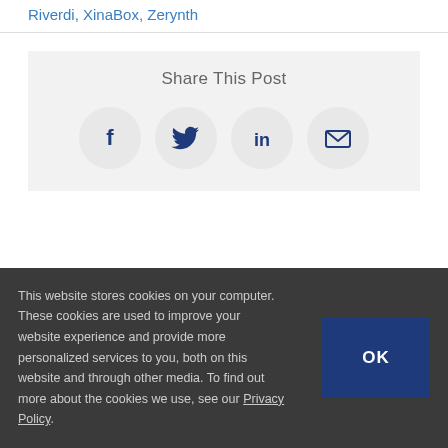Riverdi, XinaBox, Zerynth
Share This Post
[Figure (infographic): Four circular social share buttons: Facebook (f), Twitter (bird), LinkedIn (in), Email (envelope)]
This website stores cookies on your computer. These cookies are used to improve your website experience and provide more personalized services to you, both on this website and through other media. To find out more about the cookies we use, see our Privacy Policy.
OK